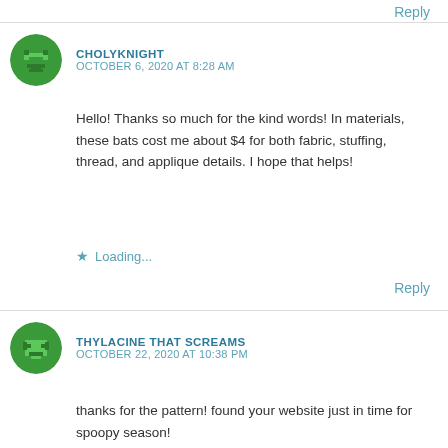Reply
CHOLYKNIGHT
OCTOBER 6, 2020 AT 8:28 AM
Hello! Thanks so much for the kind words! In materials, these bats cost me about $4 for both fabric, stuffing, thread, and applique details. I hope that helps!
Loading...
Reply
THYLACINE THAT SCREAMS
OCTOBER 22, 2020 AT 10:38 PM
thanks for the pattern! found your website just in time for spoopy season!